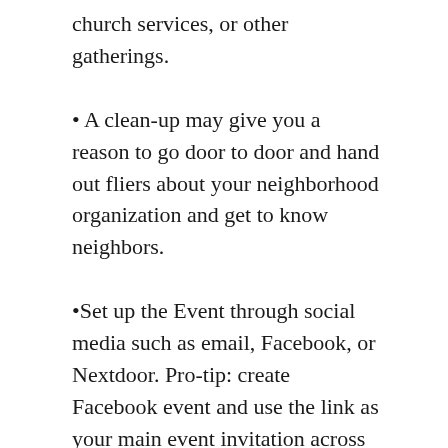church services, or other gatherings.
• A clean-up may give you a reason to go door to door and hand out fliers about your neighborhood organization and get to know neighbors.
•Set up the Event through social media such as email, Facebook, or Nextdoor. Pro-tip: create Facebook event and use the link as your main event invitation across other formats.
HOSTING A CLEAN-UP